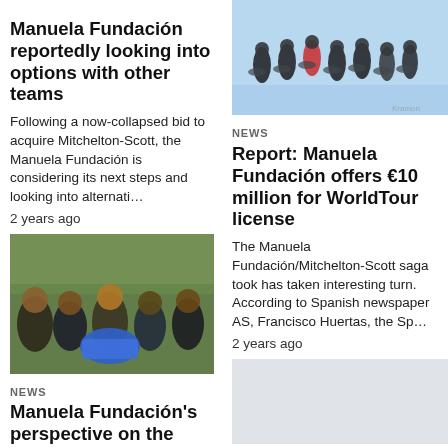Manuela Fundación reportedly looking into options with other teams
Following a now-collapsed bid to acquire Mitchelton-Scott, the Manuela Fundación is considering its next steps and looking into alternati…
2 years ago
[Figure (photo): Group of five men posing together outdoors, holding a blue jersey]
NEWS
Manuela Fundación's perspective on the
[Figure (photo): Cyclists riding in a peloton on a road, action shot]
NEWS
Report: Manuela Fundación offers €10 million for WorldTour license
The Manuela Fundación/Mitchelton-Scott saga took has taken interesting turn. According to Spanish newspaper AS, Francisco Huertas, the Sp…
2 years ago
[Figure (photo): Light gray placeholder image]